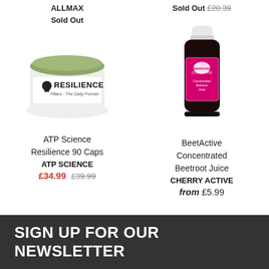ALLMAX
Sold Out
Sold Out £20.39
[Figure (photo): ATP Science Resilience 90 Caps jar with olive-green lid and white label]
[Figure (photo): BeetActive Concentrated Beetroot Juice dark bottle with pink label and white cap]
ATP Science Resilience 90 Caps
ATP SCIENCE
£34.99 £39.99
BeetActive Concentrated Beetroot Juice
CHERRY ACTIVE
from £5.99
SIGN UP FOR OUR NEWSLETTER